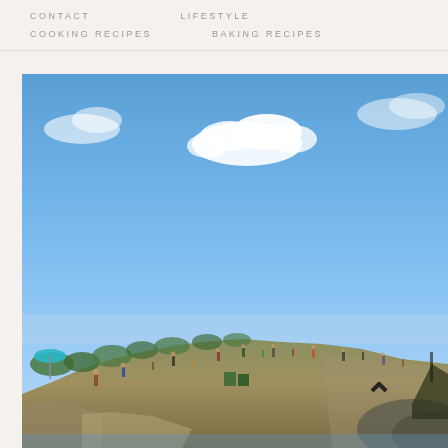CONTACT   LIFESTYLE   COOKING RECIPES   BAKING RECIPES
[Figure (photo): Outdoor beach and rocky coastal scene under a bright blue sky with scattered white clouds. A rocky hillside or cliff is visible in the lower portion, populated with many people (beachgoers) and some greenery and beach equipment. A chevron/up-arrow icon is overlaid on the lower right of the image.]